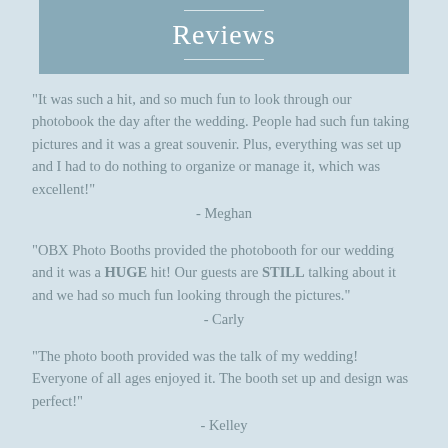Reviews
"It was such a hit, and so much fun to look through our photobook the day after the wedding. People had such fun taking pictures and it was a great souvenir. Plus, everything was set up and I had to do nothing to organize or manage it, which was excellent!"
- Meghan
"OBX Photo Booths provided the photobooth for our wedding and it was a HUGE hit! Our guests are STILL talking about it and we had so much fun looking through the pictures."
- Carly
"The photo booth provided was the talk of my wedding! Everyone of all ages enjoyed it. The booth set up and design was perfect!"
- Kelley